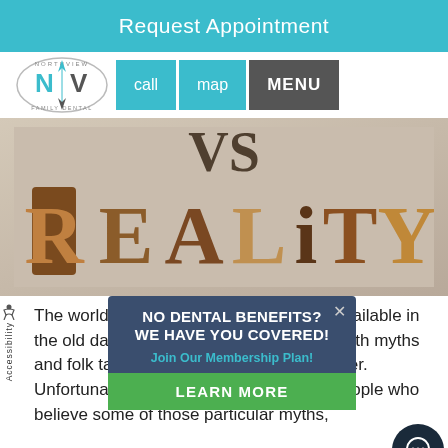Request Appointment
[Figure (logo): Northview Family Dental logo - NV with compass arrow design in circle]
call
map
MENU
[Figure (photo): Letterpress wooden type blocks spelling 'VS REALITY' on a concrete background]
The world of oral health was not readily available in the old days, and thus it became riddled with myths and folk tales that do not hold up any longer. Unfortunately, there are still quite a few people who believe some of those particular myths,
[Figure (infographic): Popup overlay: NO DENTAL BENEFITS? WE HAVE YOU COVERED! Join Our Membership Plan! LEARN MORE button]